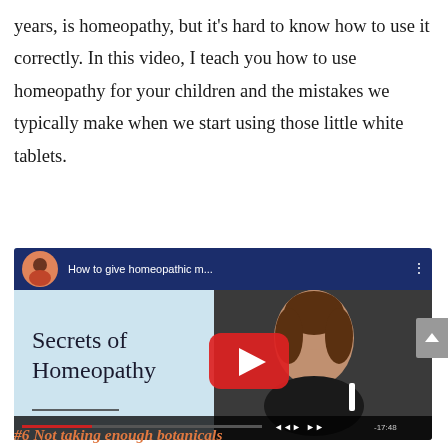years, is homeopathy, but it's hard to know how to use it correctly. In this video, I teach you how to use homeopathy for your children and the mistakes we typically make when we start using those little white tablets.
[Figure (screenshot): YouTube video thumbnail showing 'How to give homeopathic m...' with a woman smiling, holding something white, overlaid with a red YouTube play button. Left side shows a light blue panel with cursive text 'Secrets of Homeopathy'.]
#6 Not taking enough botanicals